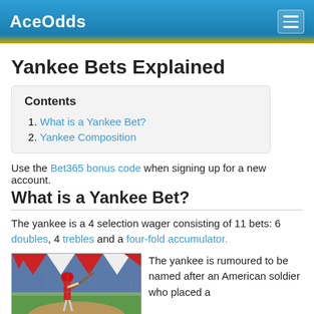AceOdds
Yankee Bets Explained
| Contents |
| --- |
| 1. What is a Yankee Bet? |
| 2. Yankee Composition |
Use the Bet365 bonus code when signing up for a new account.
What is a Yankee Bet?
The yankee is a 4 selection wager consisting of 11 bets: 6 doubles, 4 trebles and a four-fold accumulator.
[Figure (photo): A baseball batter in a red helmet swinging a bat, with red white and blue bunting decoration in the background.]
The yankee is rumoured to be named after an American soldier who placed a